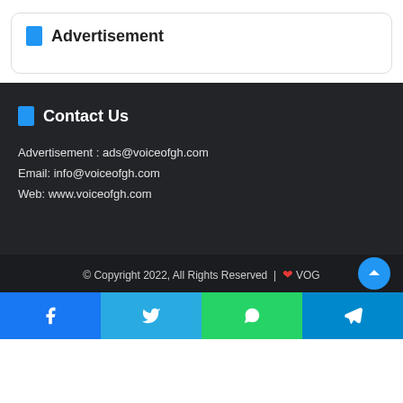Advertisement
Contact Us
Advertisement : ads@voiceofgh.com
Email: info@voiceofgh.com
Web: www.voiceofgh.com
© Copyright 2022, All Rights Reserved | ❤ VOG